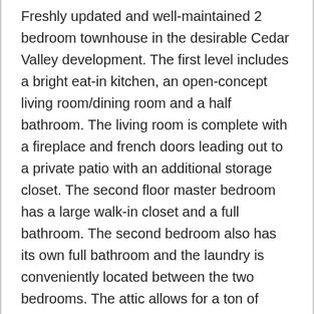Freshly updated and well-maintained 2 bedroom townhouse in the desirable Cedar Valley development. The first level includes a bright eat-in kitchen, an open-concept living room/dining room and a half bathroom. The living room is complete with a fireplace and french doors leading out to a private patio with an additional storage closet. The second floor master bedroom has a large walk-in closet and a full bathroom. The second bedroom also has its own full bathroom and the laundry is conveniently located between the two bedrooms. The attic allows for a ton of additional storage that can be easily accessed with pull down stairs. This community offers lots of amenities, including a clubhouse, gym, pool and tennis courts. The